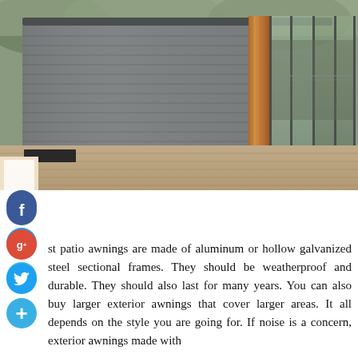[Figure (photo): Modern building exterior with gray roller shutters on the left wall, natural wood trim panel in the center, and large glass sliding doors on the right, set on a wooden deck. Social media icons (Facebook, Google+, Twitter, Add) overlaid on the lower left of the photo.]
st patio awnings are made of aluminum or hollow galvanized steel sectional frames. They should be weatherproof and durable. They should also last for many years. You can also buy larger exterior awnings that cover larger areas. It all depends on the style you are going for. If noise is a concern, exterior awnings made with